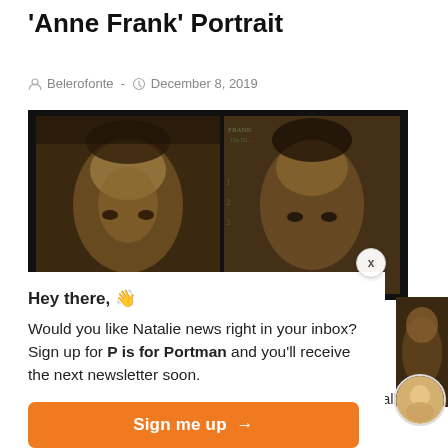'Anne Frank' Portrait
Belerofonte - December 8, 2019
[Figure (photo): Side-by-side sepia-toned portrait photographs, showing a young woman's face (Anne Frank), displayed as two adjacent photographic prints on a dark background. The right photo shows handwritten text on the back.]
Hey there, 👋
Would you like Natalie news right in your inbox? Sign up for P is for Portman and you'll receive the next newsletter soon.
Sign me up →